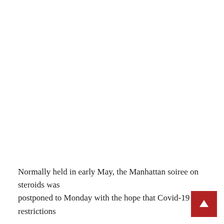Normally held in early May, the Manhattan soiree on steroids was postponed to Monday with the hope that Covid-19 restrictions